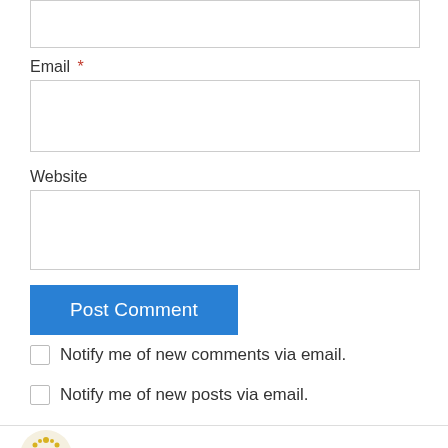[Figure (screenshot): Top input field (partially visible, cropped at top)]
Email *
[Figure (screenshot): Email input text field]
Website
[Figure (screenshot): Website input text field]
Post Comment
Notify me of new comments via email.
Notify me of new posts via email.
Veda Nath Mohabir on 05/11/2017 at 12:17 pm